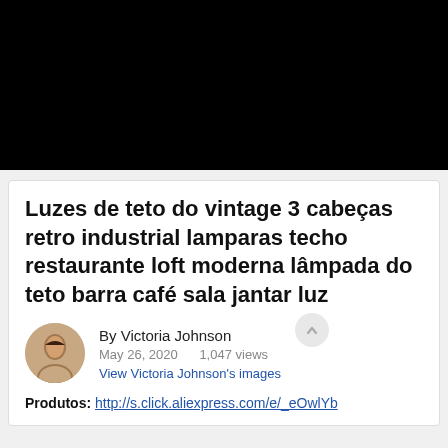[Figure (photo): Black rectangular image area at top of page]
Luzes de teto do vintage 3 cabeças retro industrial lamparas techo restaurante loft moderna lâmpada do teto barra café sala jantar luz
By Victoria Johnson
May 26, 2020   1,047 views
View Victoria Johnson's images
Produtos: http://s.click.aliexpress.com/e/_eOwlYb